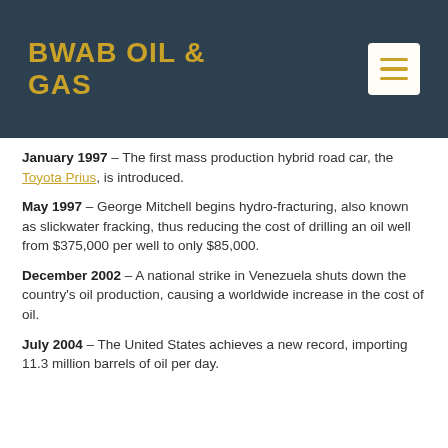BWAB OIL & GAS
January 1997 – The first mass production hybrid road car, the Toyota Prius, is introduced.
May 1997 – George Mitchell begins hydro-fracturing, also known as slickwater fracking, thus reducing the cost of drilling an oil well from $375,000 per well to only $85,000.
December 2002 – A national strike in Venezuela shuts down the country's oil production, causing a worldwide increase in the cost of oil.
July 2004 – The United States achieves a new record, importing 11.3 million barrels of oil per day.